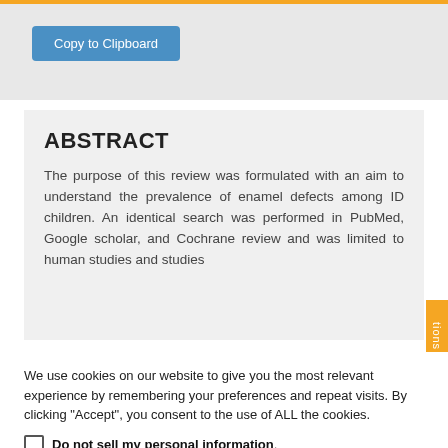[Figure (screenshot): Copy to Clipboard button on grey background with orange top border]
ABSTRACT
The purpose of this review was formulated with an aim to understand the prevalence of enamel defects among ID children. An identical search was performed in PubMed, Google scholar, and Cochrane review and was limited to human studies and studies
[Figure (screenshot): Orange vertical side tab with text 'tions']
We use cookies on our website to give you the most relevant experience by remembering your preferences and repeat visits. By clicking "Accept", you consent to the use of ALL the cookies.
Do not sell my personal information.
Cookie Settings  Accept